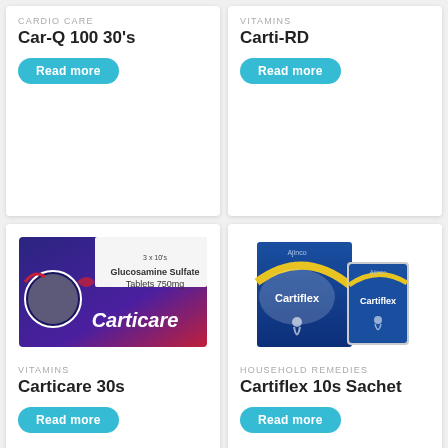CARDIO CARE
Car-Q 100 30's
Read more
VITAMINS
Carti-RD
Read more
[Figure (photo): Carticare Glucosamine Sulfate Tablets 750mg product box packaging]
VITAMINS
Carticare 30s
Read more
[Figure (photo): Cartiflex 10s Sachet product packaging - box and sachet]
HOUSEHOLD REMEDIES
Cartiflex 10s Sachet
Read more